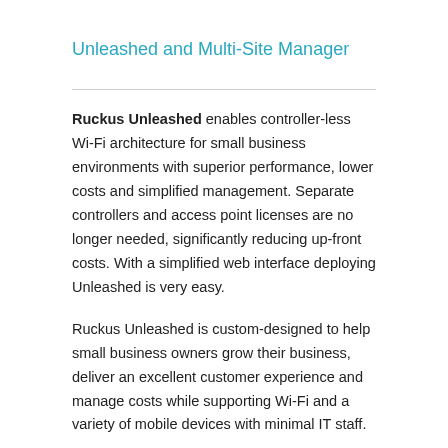Unleashed and Multi-Site Manager
Ruckus Unleashed enables controller-less Wi-Fi architecture for small business environments with superior performance, lower costs and simplified management. Separate controllers and access point licenses are no longer needed, significantly reducing up-front costs. With a simplified web interface deploying Unleashed is very easy.
Ruckus Unleashed is custom-designed to help small business owners grow their business, deliver an excellent customer experience and manage costs while supporting Wi-Fi and a variety of mobile devices with minimal IT staff.
Unleashed access points have built-in controller